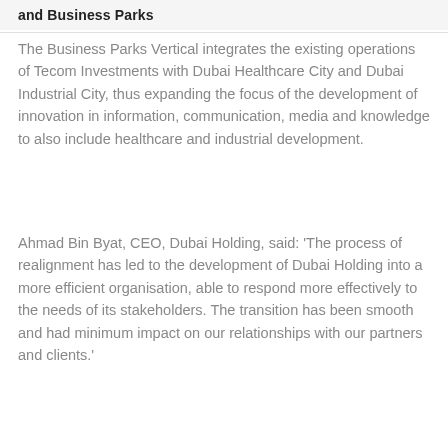and Business Parks
The Business Parks Vertical integrates the existing operations of Tecom Investments with Dubai Healthcare City and Dubai Industrial City, thus expanding the focus of the development of innovation in information, communication, media and knowledge to also include healthcare and industrial development.
Ahmad Bin Byat, CEO, Dubai Holding, said: 'The process of realignment has led to the development of Dubai Holding into a more efficient organisation, able to respond more effectively to the needs of its stakeholders. The transition has been smooth and had minimum impact on our relationships with our partners and clients.'